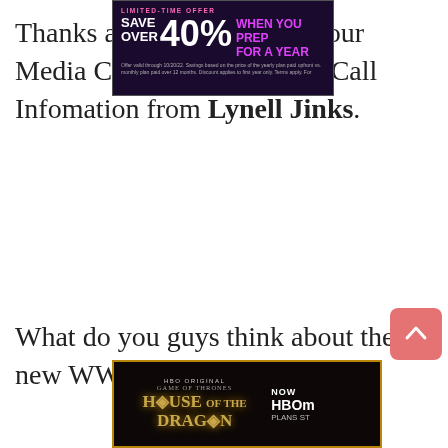[Figure (screenshot): Advertisement banner: dark purple background, 'LIMITED-TIME OFFER', 'SAVE OVER 40%' in large white text, 'WHEN YOU PREP FOR A YEAR' in purple/pink, fine print below.]
Thanks again for joining in our Media Call and Conference Call Infomation from Lynell Jinks.
What do you guys think about the new WWE 2K22's Presentation
[Figure (screenshot): Advertisement banner: House of the Dragon HBO Original series ad. Dark background with gold border, golden text 'HOUSE OF THE DRAGON', 'NOW HBO MAX PLANS ST...' on the right.]